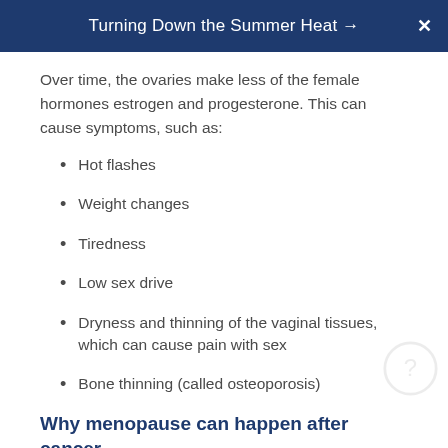Turning Down the Summer Heat →
Over time, the ovaries make less of the female hormones estrogen and progesterone. This can cause symptoms, such as:
Hot flashes
Weight changes
Tiredness
Low sex drive
Dryness and thinning of the vaginal tissues, which can cause pain with sex
Bone thinning (called osteoporosis)
Why menopause can happen after cancer